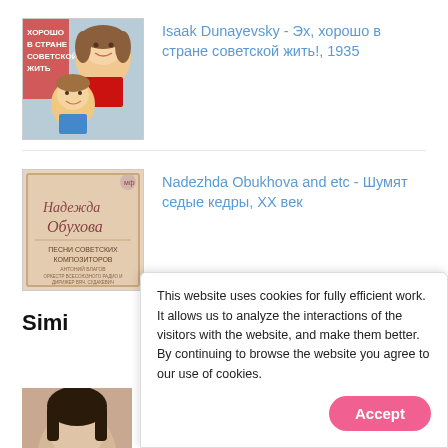[Figure (illustration): Soviet-era album cover showing two smiling children (girl and boy). Red Russian text on left reads ХОРОШО В СТРАНЕ СОВЕТСКОЙ ЖИТЬ.]
Isaak Dunayevsky - Эх, хорошо в стране советской жить!, 1935
[Figure (illustration): Vintage pink-toned album cover for Nadezhda Obukhova with Russian text: Надежда Обухова, ПЕСНИ СОВЕТСКИХ КОМПОЗИТОРОВ]
Nadezhda Obukhova and etc - Шумят седые кедры, ХХ век
Simi
This website uses cookies for fully efficient work. It allows us to analyze the interactions of the visitors with the website, and make them better. By continuing to browse the website you agree to our use of cookies.